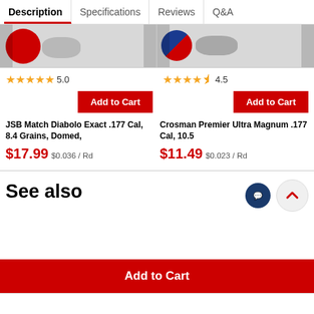Description | Specifications | Reviews | Q&A
[Figure (photo): Two product images side by side: left shows red canister with silver bowls, right shows blue/red label canister with silver bowl]
★★★★★ 5.0
★★★★½ 4.5
Add to Cart (left product)
Add to Cart (right product)
JSB Match Diabolo Exact .177 Cal, 8.4 Grains, Domed,
Crosman Premier Ultra Magnum .177 Cal, 10.5
$17.99 $0.036 / Rd
$11.49 $0.023 / Rd
See also
Add to Cart